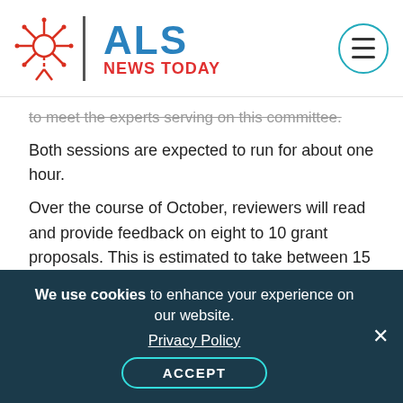ALS NEWS TODAY
to meet the experts serving on this committee. Both sessions are expected to run for about one hour.
Over the course of October, reviewers will read and provide feedback on eight to 10 grant proposals. This is estimated to take between 15 and 20 hours.
In November, all committee members will attend a virtual review session in which final grant recommendations will be considered and made. Expected to take about six hours, this review session may take place over two days.
We use cookies to enhance your experience on our website. Privacy Policy ACCEPT